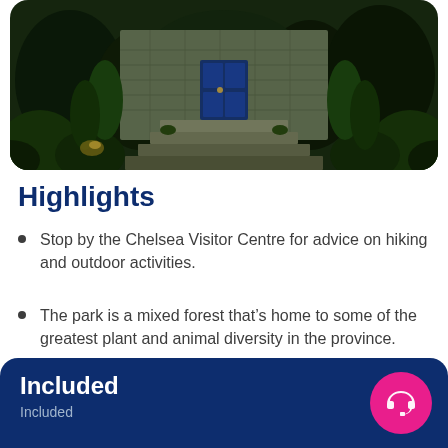[Figure (photo): Exterior photo of a stone building with steps leading to a blue door, surrounded by lush green plants and shrubs, with garden lighting visible.]
Highlights
Stop by the Chelsea Visitor Centre for advice on hiking and outdoor activities.
The park is a mixed forest that's home to some of the greatest plant and animal diversity in the province.
Included
Included